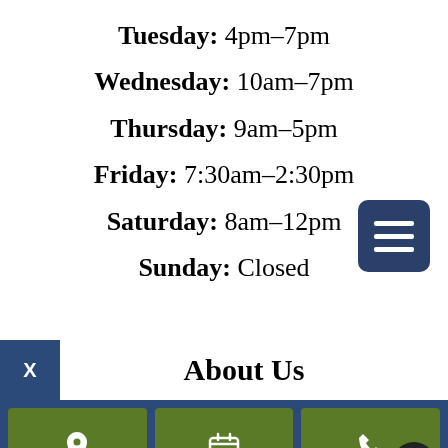Tuesday: 4pm–7pm
Wednesday: 10am–7pm
Thursday: 9am–5pm
Friday: 7:30am–2:30pm
Saturday: 8am–12pm
Sunday: Closed
About Us
[Figure (infographic): Footer navigation bar with three green icon buttons: location pin, calendar, and phone. A dark circular scroll-to-top button overlaps the phone button.]